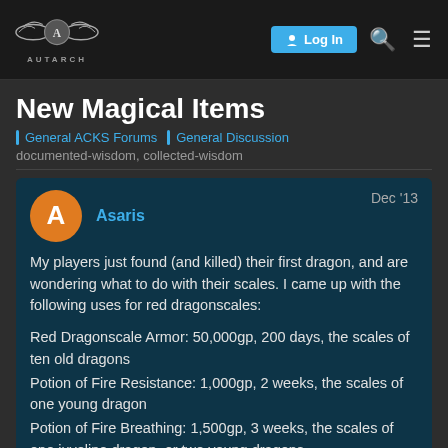AUTARCH — Log In
New Magical Items
General ACKS Forums  General Discussion
documented-wisdom, collected-wisdom
Asaris  Dec '13
My players just found (and killed) their first dragon, and are wondering what to do with their scales. I came up with the following uses for red dragonscales:

Red Dragonscale Armor: 50,000gp, 200 days, the scales of ten old dragons
Potion of Fire Resistance: 1,000gp, 2 weeks, the scales of one young dragon
Potion of Fire Breathing: 1,500gp, 3 weeks, the scales of one juveline dragon, or two young dragons
1 / 4